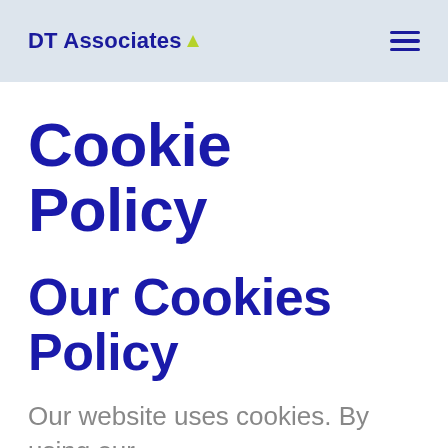DT Associates
Cookie Policy
Our Cookies Policy
Our website uses cookies. By using our